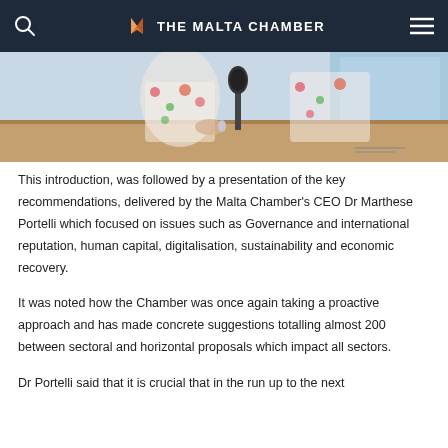THE MALTA CHAMBER
[Figure (photo): Photo of people at a conference table, partially cropped, showing individuals in floral clothing near a microphone]
This introduction, was followed by a presentation of the key recommendations, delivered by the Malta Chamber's CEO Dr Marthese Portelli which focused on issues such as Governance and international reputation, human capital, digitalisation, sustainability and economic recovery.
It was noted how the Chamber was once again taking a proactive approach and has made concrete suggestions totalling almost 200 between sectoral and horizontal proposals which impact all sectors.
Dr Portelli said that it is crucial that in the run up to the next